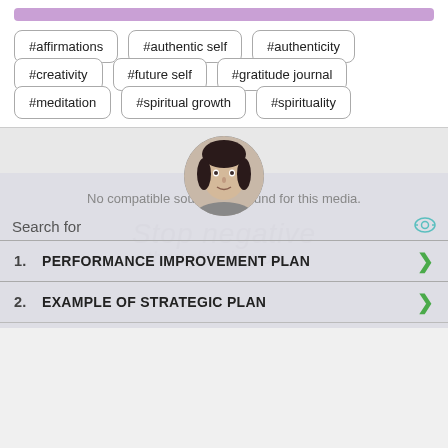[Figure (other): Purple bar at top of white section]
#affirmations
#authentic self
#authenticity
#creativity
#future self
#gratitude journal
#meditation
#spiritual growth
#spirituality
[Figure (photo): Circular profile photo of a woman with dark hair against a neutral background]
No compatible source was found for this media.
Search for
1. PERFORMANCE IMPROVEMENT PLAN
2. EXAMPLE OF STRATEGIC PLAN
Ad | Business Focus